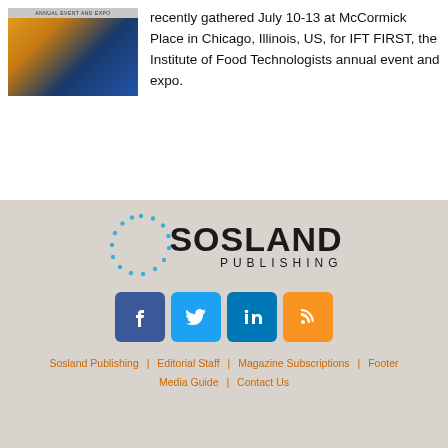[Figure (photo): Photo of IFT FIRST Annual Event and Expo with city/convention center imagery and banner]
recently gathered July 10-13 at McCormick Place in Chicago, Illinois, US, for IFT FIRST, the Institute of Food Technologists annual event and expo.
[Figure (logo): Sosland Publishing logo with circular dotted ring and company name]
[Figure (infographic): Social media icons: Facebook, Twitter, LinkedIn, RSS feed]
Sosland Publishing | Editorial Staff | Magazine Subscriptions | Footer | Media Guide | Contact Us